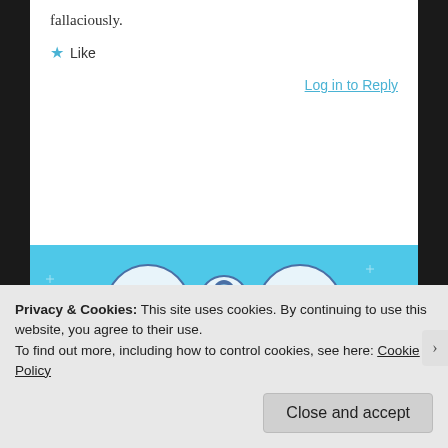fallaciously.
★ Like
Log in to Reply
[Figure (illustration): Day One journaling app advertisement banner with blue background, showing illustrated icons of a notebook, a person using a phone, and a lined notebook. Text reads 'DAY ONE' and 'The only journaling app you'll ever need.' with a download button.]
Privacy & Cookies: This site uses cookies. By continuing to use this website, you agree to their use.
To find out more, including how to control cookies, see here: Cookie Policy
Close and accept